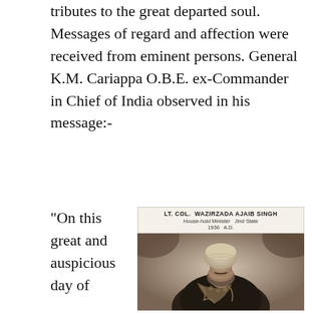tributes to the great departed soul. Messages of regard and affection were received from eminent persons. General K.M. Cariappa O.B.E. ex-Commander in Chief of India observed in his message:-
[Figure (photo): Black and white photograph of Lt. Col. Wazirzada Ajaib Singh, House-hold Minister Jind State 1936 A.D., wearing a turban and decorated military uniform with medals and ornate embroidery.]
“On this great and auspicious day of